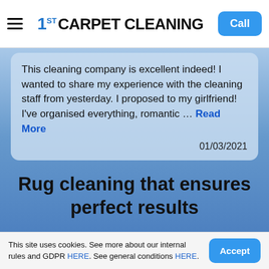[Figure (logo): 1st Carpet Cleaning logo with hamburger menu icon on left and Call button on right]
This cleaning company is excellent indeed! I wanted to share my experience with the cleaning staff from yesterday. I proposed to my girlfriend! I've organised everything, romantic ... Read More
01/03/2021
Rug cleaning that ensures perfect results
We're passionate about delivering high quality of rug
This site uses cookies. See more about our internal rules and GDPR HERE. See general conditions HERE.